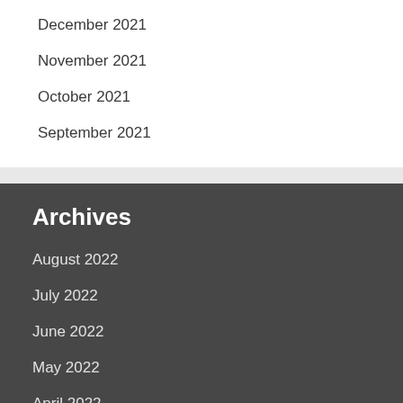December 2021
November 2021
October 2021
September 2021
Archives
August 2022
July 2022
June 2022
May 2022
April 2022